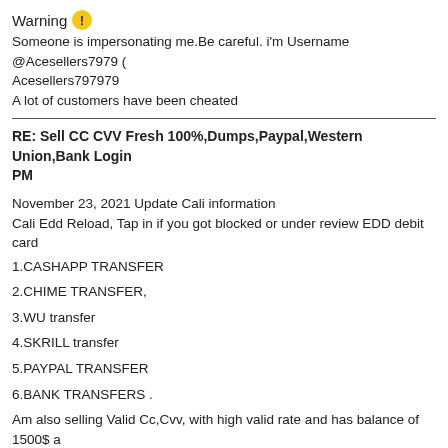Warning ⚠ Someone is impersonating me.Be careful. i'm Username @Acesellers7979 Acesellers797979 A lot of customers have been cheated
RE: Sell CC CVV Fresh 100%,Dumps,Paypal,Western Union,Bank Login PM
November 23, 2021 Update Cali information
Cali Edd Reload, Tap in if you got blocked or under review EDD debit card
1.CASHAPP TRANSFER
2.CHIME TRANSFER,
3.WU transfer
4.SKRILL transfer
5.PAYPAL TRANSFER
6.BANK TRANSFERS .
Am also selling Valid Cc,Cvv, with high valid rate and has balance of 1500$ UK..US...Canada...AU..EU.. Etc...available at cool price I also replaced non working Cc/Cvv
Sell Cash App Transfer, Cash App Account